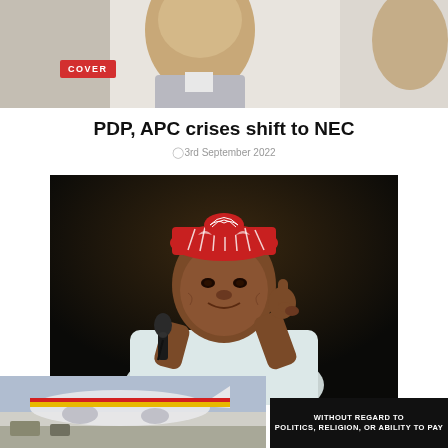[Figure (photo): Top strip showing partial faces/portraits of political figures, cropped at top]
COVER
PDP, APC crises shift to NEC
3rd September 2022
[Figure (photo): Man in red traditional cap (fila) speaking into a microphone, raising one finger, wearing white agbada, against dark background]
[Figure (photo): Advertisement image showing aircraft on tarmac with cargo, colorful livery]
WITHOUT REGARD TO POLITICS, RELIGION, OR ABILITY TO PAY